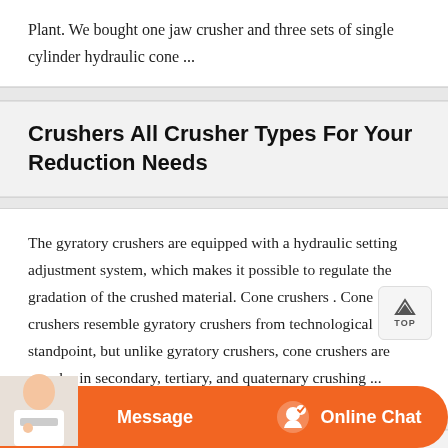Plant. We bought one jaw crusher and three sets of single cylinder hydraulic cone ...
Crushers All Crusher Types For Your Reduction Needs
The gyratory crushers are equipped with a hydraulic setting adjustment system, which makes it possible to regulate the gradation of the crushed material. Cone crushers . Cone crushers resemble gyratory crushers from technological standpoint, but unlike gyratory crushers, cone crushers are popular in secondary, tertiary, and quaternary crushing ...
High Efficiency Jaw Crusher With Iso0001 2008
Message
Online Chat